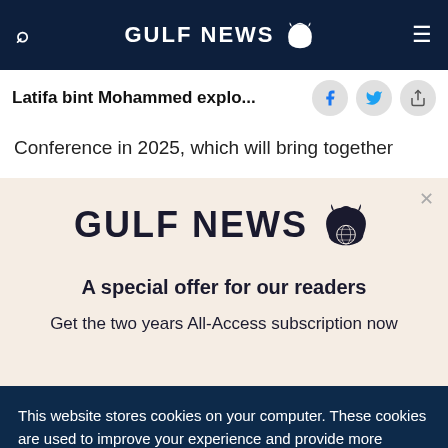GULF NEWS
Latifa bint Mohammed explo...
Conference in 2025, which will bring together
[Figure (logo): Gulf News logo with eagle emblem and text 'A special offer for our readers' and 'Get the two years All-Access subscription now']
This website stores cookies on your computer. These cookies are used to improve your experience and provide more personalized service to you. Both on your website and other media. To find out more about the cookies and data we use, please check out our Privacy Policy.
OK